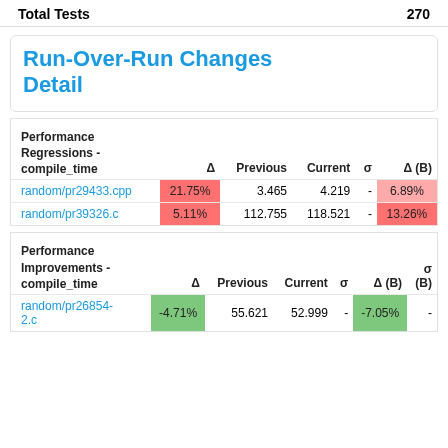|  |  |
| --- | --- |
| Total Tests | 270 |
Run-Over-Run Changes Detail
| Performance Regressions - compile_time | Δ | Previous | Current | σ | Δ (B) |
| --- | --- | --- | --- | --- | --- |
| random/pr29433.cpp | 21.75% | 3.465 | 4.219 | - | 6.89% |
| random/pr39326.c | 5.11% | 112.755 | 118.521 | - | 13.26% |
| Performance Improvements - compile_time | Δ | Previous | Current | σ | Δ (B) | σ (B) |
| --- | --- | --- | --- | --- | --- | --- |
| random/pr26854-2.c | -4.71% | 55.621 | 52.999 | - | -7.05% | - |